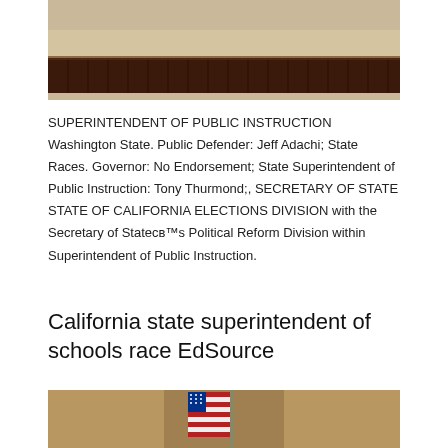[Figure (photo): Photo of a stage with dark skirted table/platform, wooden floor visible, taken from slightly above.]
SUPERINTENDENT OF PUBLIC INSTRUCTION Washington State. Public Defender: Jeff Adachi; State Races. Governor: No Endorsement; State Superintendent of Public Instruction: Tony Thurmond;, SECRETARY OF STATE STATE OF CALIFORNIA ELECTIONS DIVISION with the Secretary of StateBb™s Political Reform Division within Superintendent of Public Instruction.
California state superintendent of schools race EdSource
[Figure (photo): Photo of an American flag on a stand in what appears to be an official setting.]